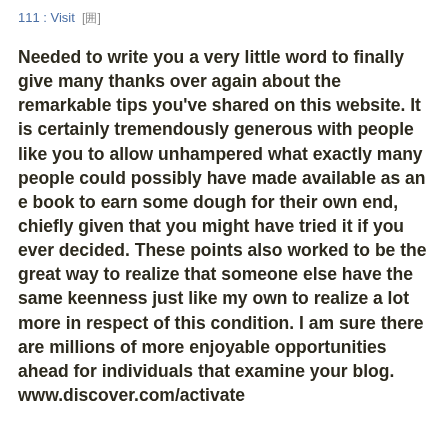111 : Visit  [囲]
Needed to write you a very little word to finally give many thanks over again about the remarkable tips you've shared on this website. It is certainly tremendously generous with people like you to allow unhampered what exactly many people could possibly have made available as an e book to earn some dough for their own end, chiefly given that you might have tried it if you ever decided. These points also worked to be the great way to realize that someone else have the same keenness just like my own to realize a lot more in respect of this condition. I am sure there are millions of more enjoyable opportunities ahead for individuals that examine your blog. www.discover.com/activate